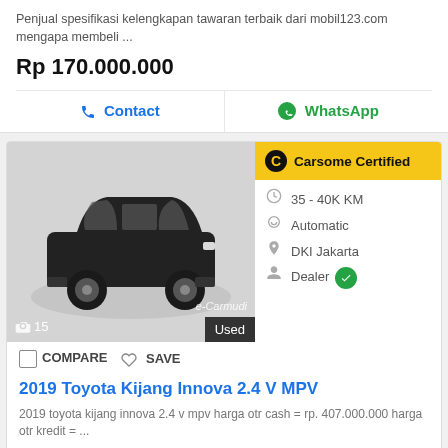Penjual spesifikasi kelengkapan tawaran terbaik dari mobil123.com mengapa membeli ...
Rp 170.000.000
Contact
WhatsApp
[Figure (photo): Black Toyota Kijang Innova car on showroom turntable, Carsome Certified badge, 15 photos, Used badge]
Carsome Certified
35 - 40K KM
Automatic
DKI Jakarta
Dealer
COMPARE  SAVE
2019 Toyota Kijang Innova 2.4 V MPV
2019 toyota kijang innova 2.4 v mpv harga otr cash = rp. 407.000.000 harga otr kredit = ...
407.000.000